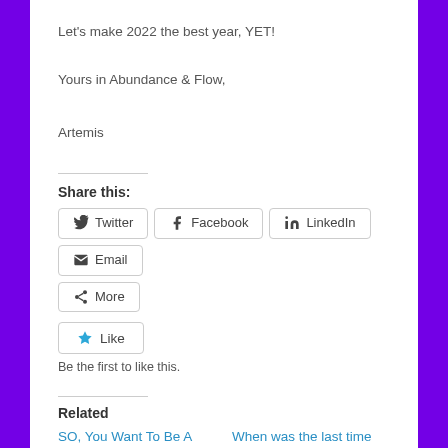Let's make 2022 the best year, YET!
Yours in Abundance & Flow,
Artemis
Share this:
Twitter  Facebook  LinkedIn  Email  More
Like
Be the first to like this.
Related
SO, You Want To Be A Personal Trainer, AND Own
When was the last time you decluttered?